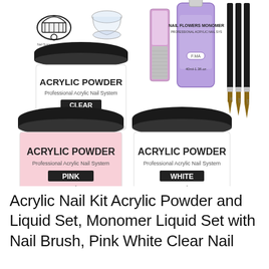[Figure (photo): Product photo of an acrylic nail kit showing three jars of acrylic powder (Clear, Pink, White each 15g-0.5fl.oz), a purple bottle of Nail Flowers Monomer professional acrylic nail system (40ml-1.3fl.oz), a nail file/buffer, three nail art brushes (size 8#, 10#, 12#), a glass dappen dish, and nail stencil guides on a white background.]
Acrylic Nail Kit Acrylic Powder and Liquid Set, Monomer Liquid Set with Nail Brush, Pink White Clear Nail